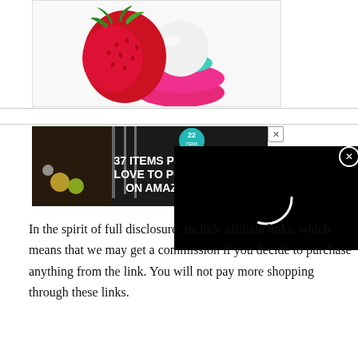[Figure (photo): Product photo of a pink and teal EOS lip balm sphere next to a red strawberry on a white background]
[Figure (photo): Advertisement banner: dark background with knives and food items, text '22 37 ITEMS PEOPLE LOVE TO PURCHASE ON AMAZON'. Partially overlapped by a black video player overlay with a loading circle and an X close button.]
In the spirit of full disclosure, include affiliate links, which means that we may get a commission if you decide to purchase anything from the link. You will not pay more shopping through these links.